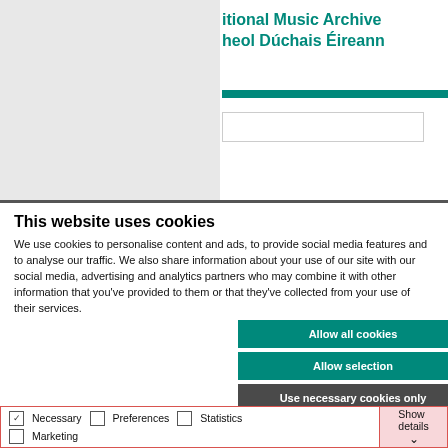[Figure (screenshot): Partial website header showing teal-colored text 'itional Music Archive' and 'heol Dúchais Éireann' on white background, with teal horizontal bar and search input, overlaid on grey background]
This website uses cookies
We use cookies to personalise content and ads, to provide social media features and to analyse our traffic. We also share information about your use of our site with our social media, advertising and analytics partners who may combine it with other information that you've provided to them or that they've collected from your use of their services.
Allow all cookies
Allow selection
Use necessary cookies only
Necessary   Preferences   Statistics   Marketing   Show details